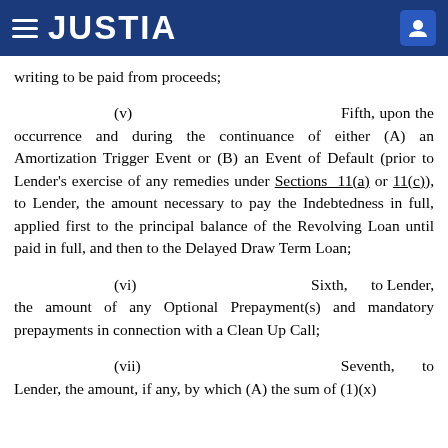JUSTIA
writing to be paid from proceeds;
(v) Fifth, upon the occurrence and during the continuance of either (A) an Amortization Trigger Event or (B) an Event of Default (prior to Lender's exercise of any remedies under Sections 11(a) or 11(c)), to Lender, the amount necessary to pay the Indebtedness in full, applied first to the principal balance of the Revolving Loan until paid in full, and then to the Delayed Draw Term Loan;
(vi) Sixth, to Lender, the amount of any Optional Prepayment(s) and mandatory prepayments in connection with a Clean Up Call;
(vii) Seventh, to Lender, the amount, if any, by which (A) the sum of (1)(x)